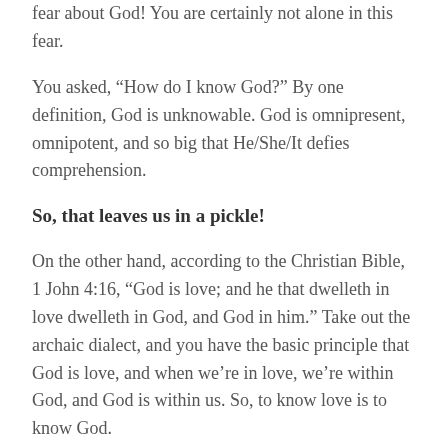fear about God! You are certainly not alone in this fear.
You asked, “How do I know God?” By one definition, God is unknowable. God is omnipresent, omnipotent, and so big that He/She/It defies comprehension.
So, that leaves us in a pickle!
On the other hand, according to the Christian Bible, 1 John 4:16, “God is love; and he that dwelleth in love dwelleth in God, and God in him.” Take out the archaic dialect, and you have the basic principle that God is love, and when we’re in love, we’re within God, and God is within us. So, to know love is to know God.
Personally, that’s my favorite idea about God. Because I can feel love, and I can know that feeling. And I can even work on feeling more of that, if I choose to.